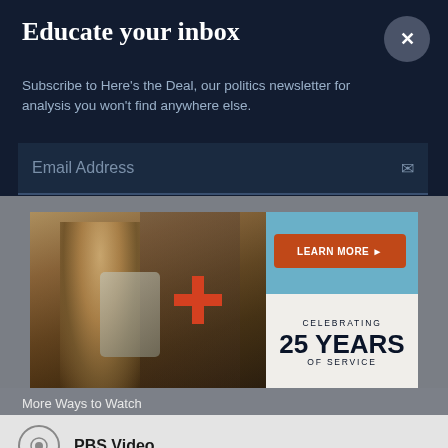Educate your inbox
Subscribe to Here's the Deal, our politics newsletter for analysis you won't find anywhere else.
[Figure (screenshot): Email address input field with placeholder text 'Email Address' and an envelope icon on the right, on a dark navy background]
[Figure (photo): Advertisement banner: photo of smiling people looking at a smartphone with a red plus icon, and a blue panel on the right with 'LEARN MORE' button and text 'CELEBRATING 25 YEARS OF SERVICE']
More Ways to Watch
PBS Video
NewsHour iPhone App